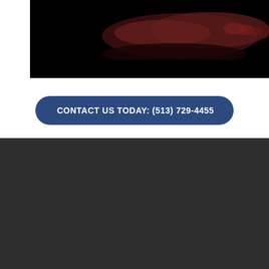[Figure (photo): Close-up of a foot/feet on dark background with reddish lighting]
CONTACT US TODAY: (513) 729-4455
Patient Portal
Login
[Figure (photo): Chat bubble with elderly woman avatar (Maggie) saying 'Dr. Titko ... help me fix my cracked, dry feet and make them beautiful again.']
Password